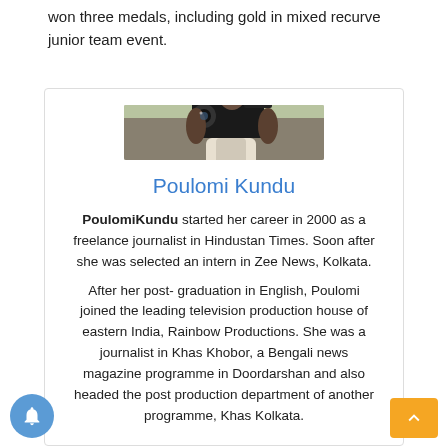won three medals, including gold in mixed recurve junior team event.
[Figure (photo): Photo of Poulomi Kundu holding a professional video camera]
Poulomi Kundu
PoulomiKundu started her career in 2000 as a freelance journalist in Hindustan Times. Soon after she was selected an intern in Zee News, Kolkata.
After her post- graduation in English, Poulomi joined the leading television production house of eastern India, Rainbow Productions. She was a journalist in Khas Khobor, a Bengali news magazine programme in Doordarshan and also headed the post production department of another programme, Khas Kolkata.